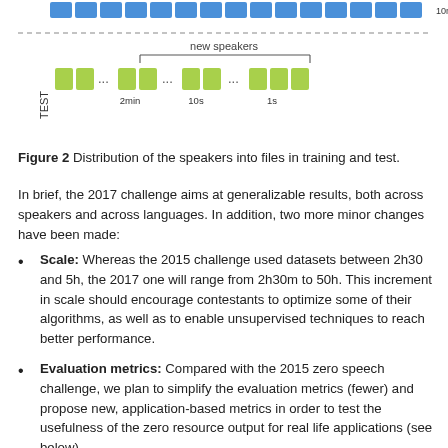[Figure (infographic): Diagram showing distribution of speakers into files for training (blue blocks row, labeled 10m at right) and test (green blocks row, labeled TEST on left, with time markers 2min, 10s, 1s). A dashed horizontal line separates training and test sections. A bracket above the test row indicates 'new speakers'.]
Figure 2 Distribution of the speakers into files in training and test.
In brief, the 2017 challenge aims at generalizable results, both across speakers and across languages. In addition, two more minor changes have been made:
Scale: Whereas the 2015 challenge used datasets between 2h30 and 5h, the 2017 one will range from 2h30m to 50h. This increment in scale should encourage contestants to optimize some of their algorithms, as well as to enable unsupervised techniques to reach better performance.
Evaluation metrics: Compared with the 2015 zero speech challenge, we plan to simplify the evaluation metrics (fewer) and propose new, application-based metrics in order to test the usefulness of the zero resource output for real life applications (see below).